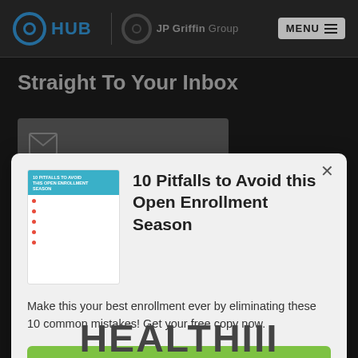HUB | JP Griffin Group | MENU
Straight To Your Inbox
[Figure (screenshot): Email input box with envelope icon]
[Figure (screenshot): Submit button]
[Figure (screenshot): Modal popup: 10 Pitfalls to Avoid this Open Enrollment Season with thumbnail image, body text, and Download Now button]
10 Pitfalls to Avoid this Open Enrollment Season
Make this your best enrollment ever by eliminating these 10 common mistakes! Get your free copy now.
Download Now